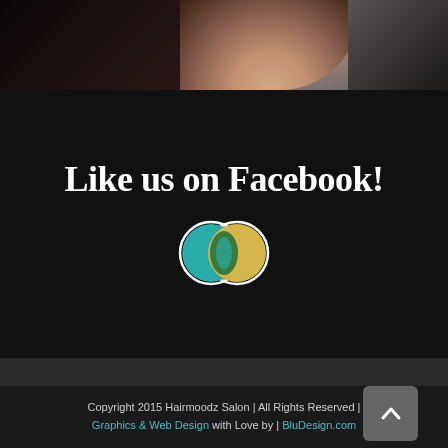[Figure (photo): Partial photo of a person, dark tones with skin visible, cropped at bottom edge]
Like us on Facebook!
[Figure (logo): Hairmoodz Salon logo: two overlapping circles in teal, green, and yellow with white outline, eye-shaped design]
Copyright 2015 Hairmoodz Salon | All Rights Reserved | Graphics & Web Design with Love by | BluDesign.com